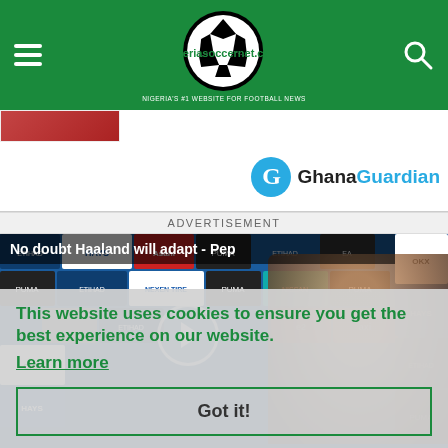nigeriasoccernet.com — Nigeria's #1 website for football news
[Figure (screenshot): Partial article thumbnail image strip with red-toned image on left]
[Figure (logo): Ghana Guardian logo with blue circle G and text]
ADVERTISEMENT
[Figure (screenshot): Video player showing press conference with sponsor boards in background. Title: No doubt Haaland will adapt - Pep]
This website uses cookies to ensure you get the best experience on our website.
Learn more
Got it!